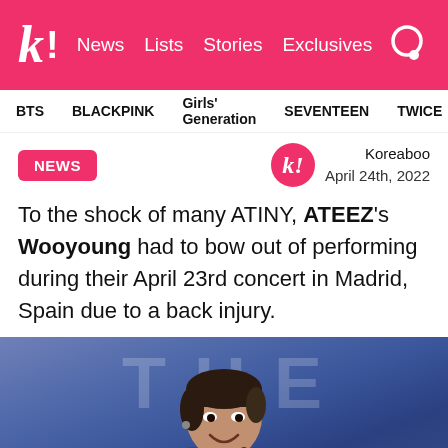k! News Lists Stories Exclusives
BTS BLACKPINK Girls' Generation SEVENTEEN TWICE
NEWS
Koreaboo
April 24th, 2022
To the shock of many ATINY, ATEEZ's Wooyoung had to bow out of performing during their April 23rd concert in Madrid, Spain due to a back injury.
[Figure (photo): Photo of ATEEZ member Wooyoung on stage smiling, with large letters visible in background on stage set]